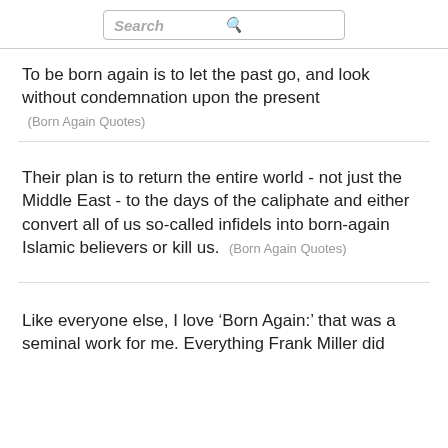Search
To be born again is to let the past go, and look without condemnation upon the present
(Born Again Quotes)
Their plan is to return the entire world - not just the Middle East - to the days of the caliphate and either convert all of us so-called infidels into born-again Islamic believers or kill us.  (Born Again Quotes)
Like everyone else, I love ‘Born Again:’ that was a seminal work for me. Everything Frank Miller did